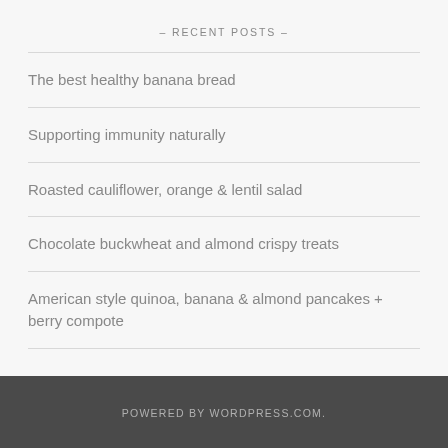– RECENT POSTS –
The best healthy banana bread
Supporting immunity naturally
Roasted cauliflower, orange & lentil salad
Chocolate buckwheat and almond crispy treats
American style quinoa, banana & almond pancakes + berry compote
POWERED BY WORDPRESS.COM.